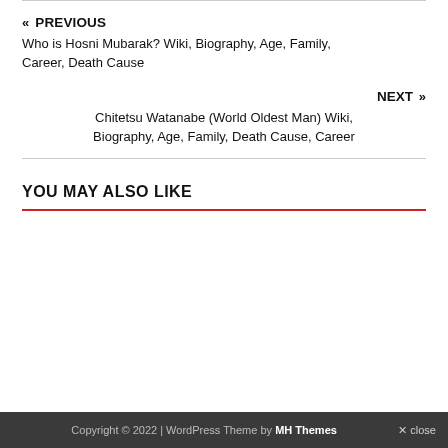« PREVIOUS
Who is Hosni Mubarak? Wiki, Biography, Age, Family, Career, Death Cause
NEXT »
Chitetsu Watanabe (World Oldest Man) Wiki, Biography, Age, Family, Death Cause, Career
YOU MAY ALSO LIKE
Copyright © 2022 | WordPress Theme by MH Themes